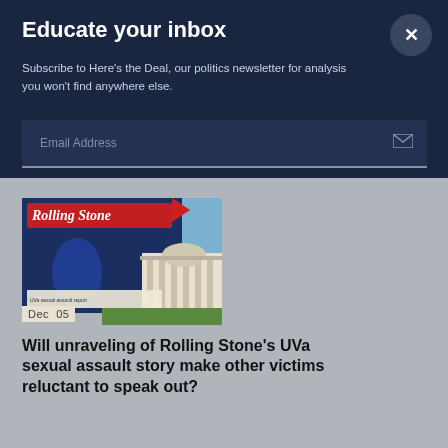Educate your inbox
Subscribe to Here's the Deal, our politics newsletter for analysis you won't find anywhere else.
Email Address
[Figure (photo): Composite image of Rolling Stone magazine cover with UVa building in background and a red play button overlay. Date stamp reads Dec 05.]
Dec  05
Will unraveling of Rolling Stone's UVa sexual assault story make other victims reluctant to speak out?